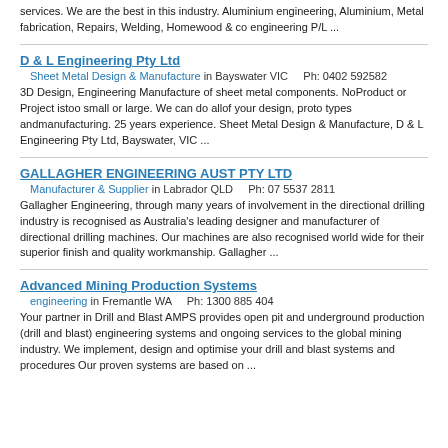services. We are the best in this industry. Aluminium engineering, Aluminium, Metal fabrication, Repairs, Welding, Homewood & co engineering P/L ...
D & L Engineering Pty Ltd
Sheet Metal Design & Manufacture in Bayswater VIC    Ph: 0402 592582
3D Design, Engineering Manufacture of sheet metal components. NoProduct or Project istoo small or large. We can do allof your design, proto types andmanufacturing. 25 years experience. Sheet Metal Design & Manufacture, D & L Engineering Pty Ltd, Bayswater, VIC ...
GALLAGHER ENGINEERING AUST PTY LTD
Manufacturer & Supplier in Labrador QLD    Ph: 07 5537 2811
Gallagher Engineering, through many years of involvement in the directional drilling industry is recognised as Australia's leading designer and manufacturer of directional drilling machines. Our machines are also recognised world wide for their superior finish and quality workmanship. Gallagher ...
Advanced Mining Production Systems
engineering in Fremantle WA    Ph: 1300 885 404
Your partner in Drill and Blast AMPS provides open pit and underground production (drill and blast) engineering systems and ongoing services to the global mining industry. We implement, design and optimise your drill and blast systems and procedures Our proven systems are based on ...